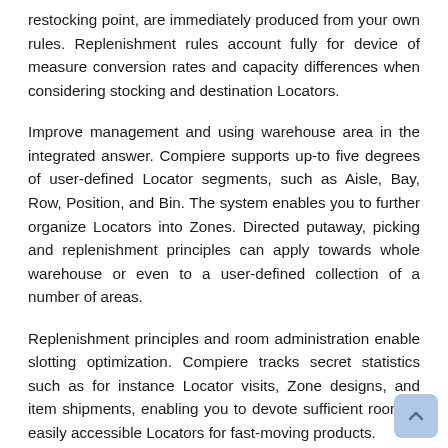restocking point, are immediately produced from your own rules. Replenishment rules account fully for device of measure conversion rates and capacity differences when considering stocking and destination Locators.
Improve management and using warehouse area in the integrated answer. Compiere supports up-to five degrees of user-defined Locator segments, such as Aisle, Bay, Row, Position, and Bin. The system enables you to further organize Locators into Zones. Directed putaway, picking and replenishment principles can apply towards whole warehouse or even to a user-defined collection of a number of areas.
Replenishment principles and room administration enable slotting optimization. Compiere tracks secret statistics such as for instance Locator visits, Zone designs, and item shipments, enabling you to devote sufficient room in easily accessible Locators for fast-moving products.